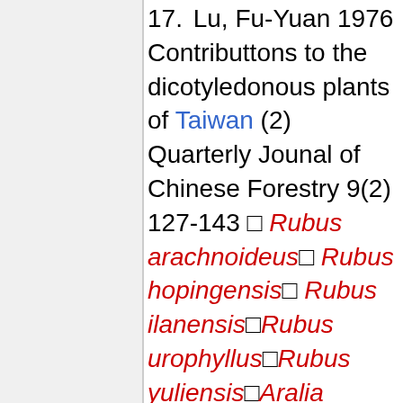17. Lu, Fu-Yuan 1976 Contributtons to the dicotyledonous plants of Taiwan (2) Quarterly Jounal of Chinese Forestry 9(2) 127-143 □ Rubus arachnoideus□ Rubus hopingensis□ Rubus ilanensis□Rubus urophyllus□Rubus yuliensis□Aralia taiwaniana□Rubus parviaraliifolius var. lzxiflorus□Rubus pseudoacer var. flexuosus□Stellaria monosperma var.